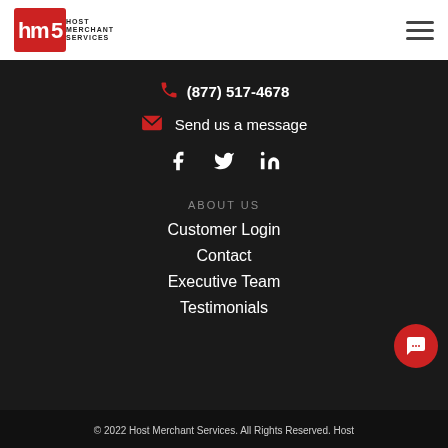[Figure (logo): Host Merchant Services logo — red square with 'hms' letters and company name text]
(877) 517-4678
Send us a message
[Figure (infographic): Social media icons: Facebook, Twitter, LinkedIn]
ABOUT US
Customer Login
Contact
Executive Team
Testimonials
© 2022 Host Merchant Services. All Rights Reserved. Host